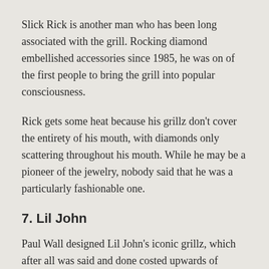Slick Rick is another man who has been long associated with the grill. Rocking diamond embellished accessories since 1985, he was on of the first people to bring the grill into popular consciousness.
Rick gets some heat because his grillz don't cover the entirety of his mouth, with diamonds only scattering throughout his mouth. While he may be a pioneer of the jewelry, nobody said that he was a particularly fashionable one.
7. Lil John
Paul Wall designed Lil John's iconic grillz, which after all was said and done costed upwards of 50,000 dollars. In 2009, lil John was named king of da grillz. Lil John might be up there with Weezy and Paul Wall in grill notoriety.